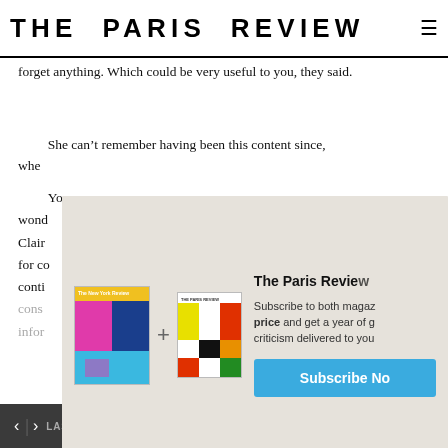THE PARIS REVIEW
forget anything. Which could be very useful to you, they said.
She can’t remember having been this content since, when
Yo wond Clair for co conti cons infor
[Figure (infographic): Subscription modal with New York Review and The Paris Review magazine covers, plus sign between them, with text 'The Paris Review', 'Subscribe to both magaz price and get a year of g criticism delivered to you' and a blue Subscribe Now button]
Want to keep reading?
< > LAST / NEXT ARTICLE   SHARE